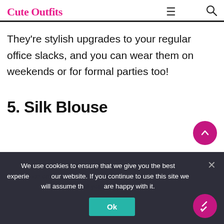Cute Outfits
They're stylish upgrades to your regular office slacks, and you can wear them on weekends or for formal parties too!
5. Silk Blouse
We use cookies to ensure that we give you the best experience on our website. If you continue to use this site we will assume that you are happy with it.